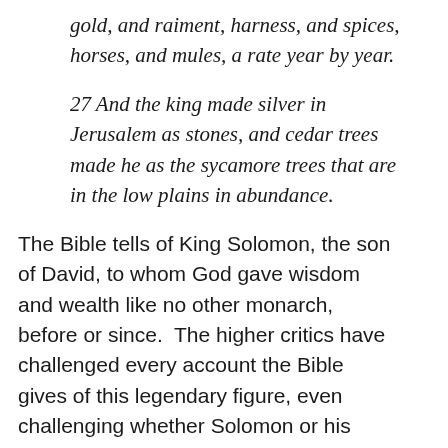gold, and raiment, harness, and spices, horses, and mules, a rate year by year.
27 And the king made silver in Jerusalem as stones, and cedar trees made he as the sycamore trees that are in the low plains in abundance.
The Bible tells of King Solomon, the son of David, to whom God gave wisdom and wealth like no other monarch, before or since.  The higher critics have challenged every account the Bible gives of this legendary figure, even challenging whether Solomon or his father David, ever even lived at all.  But, as you should expect, these so-called